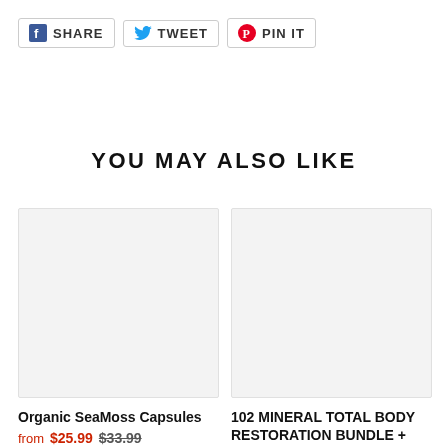[Figure (infographic): Social share buttons: Facebook Share, Twitter Tweet, Pinterest Pin It]
YOU MAY ALSO LIKE
[Figure (photo): Product image placeholder for Organic SeaMoss Capsules (light gray box)]
Organic SeaMoss Capsules
from $25.99  $33.99
[Figure (photo): Product image placeholder for 102 MINERAL TOTAL BODY RESTORATION BUNDLE + Super (light gray box)]
102 MINERAL TOTAL BODY RESTORATION BUNDLE + Super